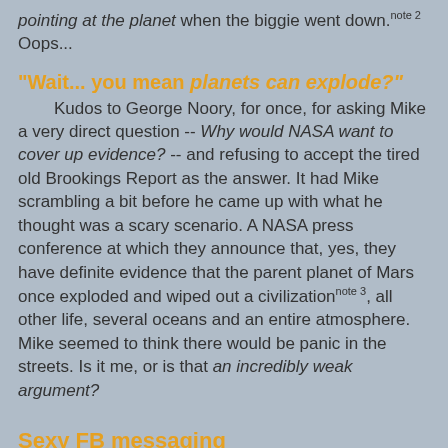pointing at the planet when the biggie went down.note 2 Oops...
"Wait... you mean planets can explode?"
Kudos to George Noory, for once, for asking Mike a very direct question -- Why would NASA want to cover up evidence? -- and refusing to accept the tired old Brookings Report as the answer. It had Mike scrambling a bit before he came up with what he thought was a scary scenario. A NASA press conference at which they announce that, yes, they have definite evidence that the parent planet of Mars once exploded and wiped out a civilizationnote 3, all other life, several oceans and an entire atmosphere. Mike seemed to think there would be panic in the streets. Is it me, or is that an incredibly weak argument?
Sexy FB messaging
Mike reiterated his accusation that his critics (and I assume he includes me) have been sexually harassing his FBgfs. I take exception to that. I say this: Mike Bara, put